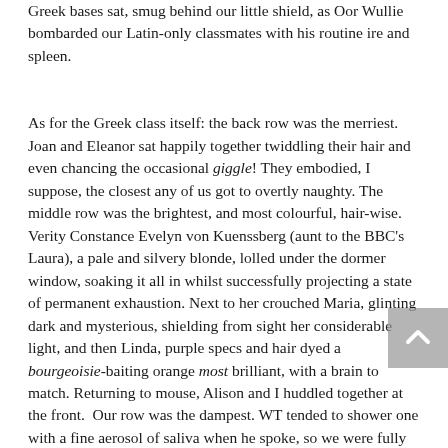Greek bases sat, smug behind our little shield, as Oor Wullie bombarded our Latin-only classmates with his routine ire and spleen.

As for the Greek class itself: the back row was the merriest. Joan and Eleanor sat happily together twiddling their hair and even chancing the occasional giggle! They embodied, I suppose, the closest any of us got to overtly naughty. The middle row was the brightest, and most colourful, hair-wise. Verity Constance Evelyn von Kuenssberg (aunt to the BBC's Laura), a pale and silvery blonde, lolled under the dormer window, soaking it all in whilst successfully projecting a state of permanent exhaustion. Next to her crouched Maria, glinting dark and mysterious, shielding from sight her considerable light, and then Linda, purple specs and hair dyed a bourgeoisie-baiting orange most brilliant, with a brain to match. Returning to mouse, Alison and I huddled together at the front.  Our row was the dampest. WT tended to shower one with a fine aerosol of saliva when he spoke, so we were fully in the line of (watery) fire, the more so as WT always pronounced my